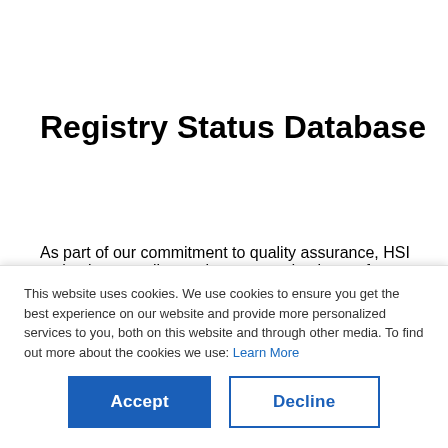Registry Status Database
As part of our commitment to quality assurance, HSI maintains an online registry status database of approved Training Centers and authorized instructors. Using this search tool, regulators, employers, prospective customers and students can
This website uses cookies. We use cookies to ensure you get the best experience on our website and provide more personalized services to you, both on this website and through other media. To find out more about the cookies we use: Learn More